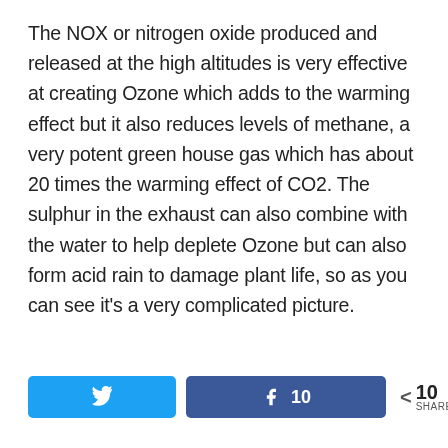The NOX or nitrogen oxide produced and released at the high altitudes is very effective at creating Ozone which adds to the warming effect but it also reduces levels of methane, a very potent green house gas which has about 20 times the warming effect of CO2. The sulphur in the exhaust can also combine with the water to help deplete Ozone but can also form acid rain to damage plant life, so as you can see it's a very complicated picture.
[Figure (other): Social sharing buttons: Twitter button (blue), Facebook button (dark blue) with count 10, and a share icon with count 10 SHARES]